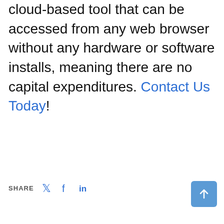cloud-based tool that can be accessed from any web browser without any hardware or software installs, meaning there are no capital expenditures. Contact Us Today!
SHARE